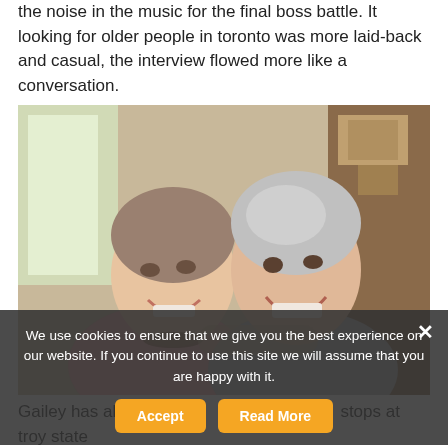the noise in the music for the final boss battle. It looking for older people in toronto was more laid-back and casual, the interview flowed more like a conversation.
[Figure (photo): Two elderly women laughing and smiling together indoors, arms around each other]
We use cookies to ensure that we give you the best experience on our website. If you continue to use this site we will assume that you are happy with it.
Gailey has also made her in looking for old people in australia stops at troy state looking for old people in australia and samford, Tonawanda synthetic